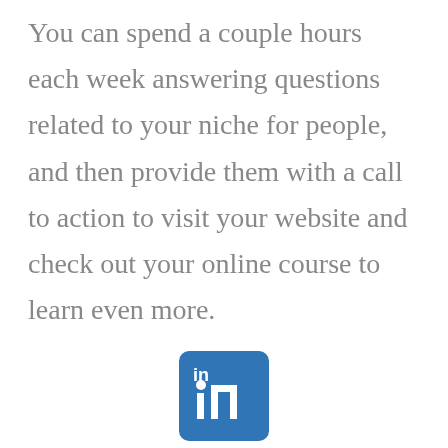You can spend a couple hours each week answering questions related to your niche for people, and then provide them with a call to action to visit your website and check out your online course to learn even more.
[Figure (logo): LinkedIn logo: blue rounded square with white 'in' text]
LinkedIn
If your topic has to do with professionals, LinkedIn can be a